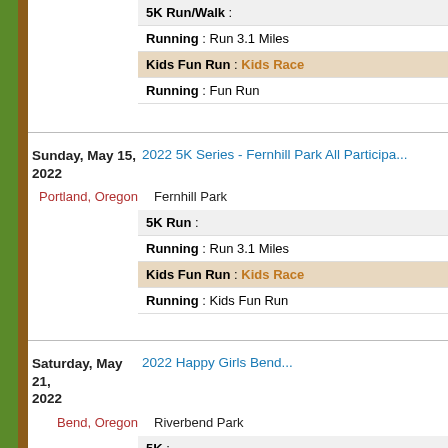| 5K Run/Walk |  |
| Running | Run 3.1 Miles |
| Kids Fun Run | Kids Race |
| Running | Fun Run |
Sunday, May 15, 2022
2022 5K Series - Fernhill Park All Participants
Portland, Oregon   Fernhill Park
| 5K Run |  |
| Running | Run 3.1 Miles |
| Kids Fun Run | Kids Race |
| Running | Kids Fun Run |
Saturday, May 21, 2022
2022 Happy Girls Bend...
Bend, Oregon   Riverbend Park
| 5K |  |
| Running | Run 3.1 Miles |
| Kids Run | Kids Race |